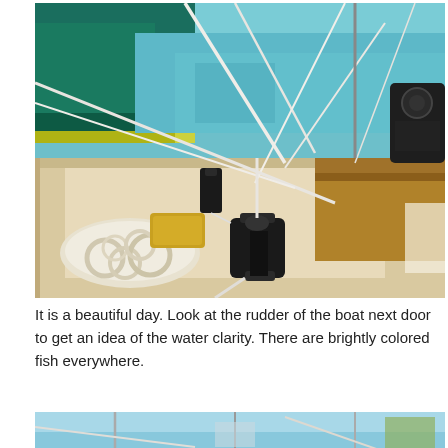[Figure (photo): A sailboat cockpit photographed from onboard, showing coiled white ropes on the deck, a black cleat/hardware fitting, wooden trim, rigging lines, and clear turquoise harbor water with another green-hulled boat visible in the background.]
It is a beautiful day. Look at the rudder of the boat next door to get an idea of the water clarity. There are brightly colored fish everywhere.
[Figure (photo): Partially visible photo at the bottom of the page showing another marina/harbor scene with masts and equipment visible.]